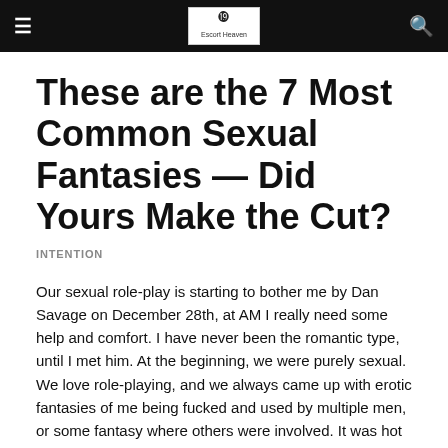Escort Heaven
These are the 7 Most Common Sexual Fantasies — Did Yours Make the Cut?
INTENTION
Our sexual role-play is starting to bother me by Dan Savage on December 28th, at AM I really need some help and comfort. I have never been the romantic type, until I met him. At the beginning, we were purely sexual. We love role-playing, and we always came up with erotic fantasies of me being fucked and used by multiple men, or some fantasy where others were involved. It was hot to me until I fell in love with him...